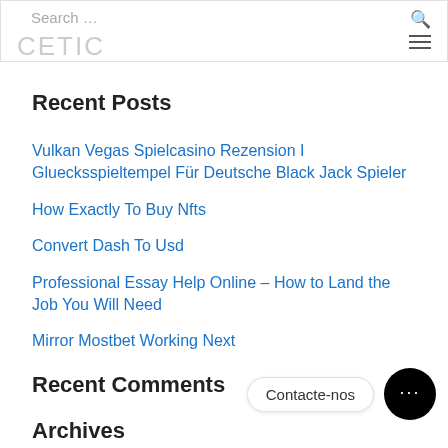Search ... CETIC
Recent Posts
Vulkan Vegas Spielcasino Rezension I Gluecksspieltempel Für Deutsche Black Jack Spieler
How Exactly To Buy Nfts
Convert Dash To Usd
Professional Essay Help Online – How to Land the Job You Will Need
Mirror Mostbet Working Next
Recent Comments
Archives